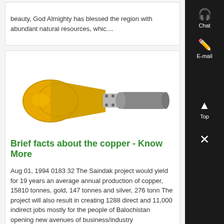beauty, God Almighty has blessed the region with abundant natural resources, whic....
[Figure (photo): Yellow and grey conical copper processing equipment/pipe fitting on white background]
Brief facts about the copper - Know More
Aug 01, 1994 0183 32 The Saindak project would yield for 19 years an average annual production of copper, 15810 tonnes, gold, 147 tonnes and silver, 276 tonn The project will also result in creating 1288 direct and 11,000 indirect jobs mostly for the people of Balochistan opening new avenues of business/industry
[Figure (photo): Industrial mining/processing equipment - large dark metal machinery on warehouse floor]